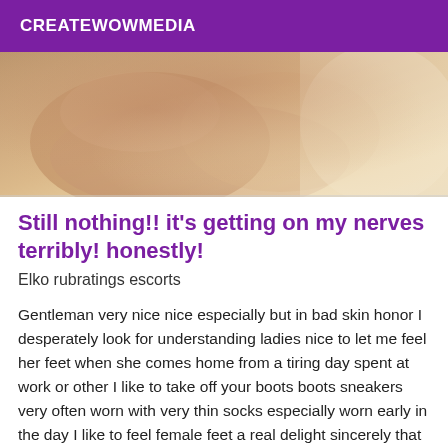CREATEWOWMEDIA
[Figure (photo): Close-up photo of a human foot/ankle area on light fabric background]
Still nothing!! it's getting on my nerves terribly! honestly!
Elko rubratings escorts
Gentleman very nice nice especially but in bad skin honor I desperately look for understanding ladies nice to let me feel her feet when she comes home from a tiring day spent at work or other I like to take off your boots boots sneakers very often worn with very thin socks especially worn early in the day I like to feel female feet a real delight sincerely that will allow to go forward morally I need this foot smell sincerely then massage your feet with my hands naturally relaxation relaxation only nothing else mobility in Le Mans and surroundings